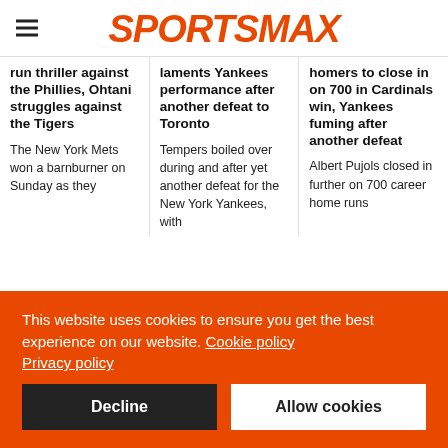SPORTSMAX
run thriller against the Phillies, Ohtani struggles against the Tigers
laments Yankees performance after another defeat to Toronto
homers to close in on 700 in Cardinals win, Yankees fuming after another defeat
The New York Mets won a barnburner on Sunday as they
Tempers boiled over during and after yet another defeat for the New York Yankees, with
Albert Pujols closed in further on 700 career home runs
This website uses cookies to ensure you get the best experience on our website. Cookie policy Privacy policy
Decline
Allow cookies